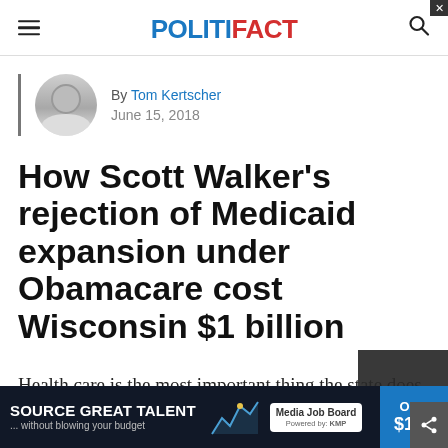POLITIFACT
By Tom Kertscher
June 15, 2018
How Scott Walker's rejection of Medicaid expansion under Obamacare cost Wisconsin $1 billion
Health care is the most important thing the state does, Eau Claire state Rep. Dana Wa... decla...